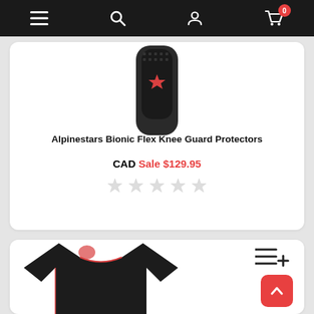Navigation bar with menu, search, account, and cart (0 items)
[Figure (photo): Alpinestars Bionic Flex Knee Guard Protectors product photo - black knee pad with red Alpinestars logo on textured background]
Alpinestars Bionic Flex Knee Guard Protectors
CAD Sale $129.95
[Figure (other): 5 empty/unfilled star rating icons in light gray]
[Figure (photo): Alpinestars long sleeve base layer shirt in black with red stitching details and Alpinestars logo]
[Figure (other): Add to list icon (three lines with plus sign) and scroll-to-top red button with up arrow]